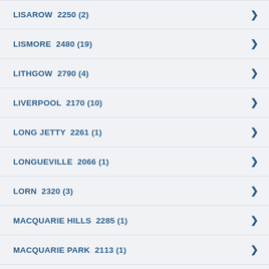LISAROW  2250 (2)
LISMORE  2480 (19)
LITHGOW  2790 (4)
LIVERPOOL  2170 (10)
LONG JETTY  2261 (1)
LONGUEVILLE  2066 (1)
LORN  2320 (3)
MACQUARIE HILLS  2285 (1)
MACQUARIE PARK  2113 (1)